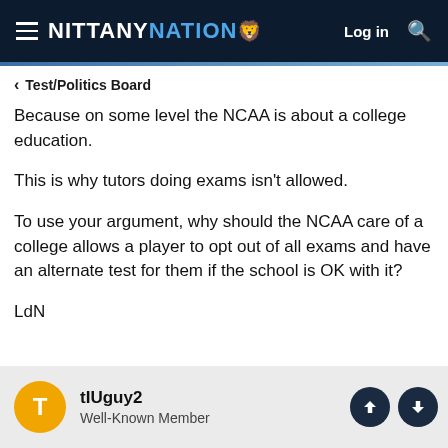NITTANY NATION — Log in
< Test/Politics Board
Because on some level the NCAA is about a college education.

This is why tutors doing exams isn't allowed.

To use your argument, why should the NCAA care of a college allows a player to opt out of all exams and have an alternate test for them if the school is OK with it?

LdN
tIUguy2
Well-Known Member